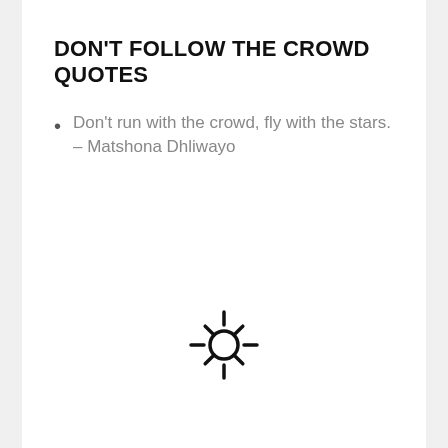DON’T FOLLOW THE CROWD QUOTES
Don’t run with the crowd, fly with the stars. – Matshona Dhliwayo
[Figure (illustration): Sun icon: a circle in the center with 8 rays (lines) radiating outward in a star pattern, drawn in a simple outline/stroke style.]